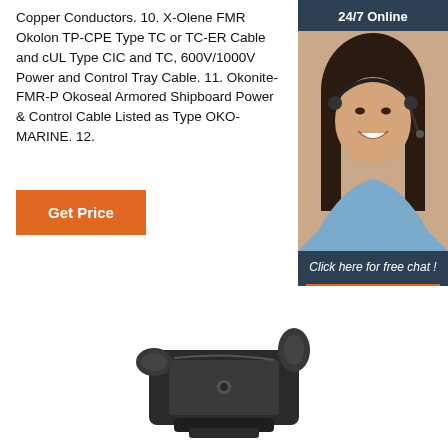Copper Conductors. 10. X-Olene FMR Okolon TP-CPE Type TC or TC-ER Cable and cUL Type CIC and TC, 600V/1000V Power and Control Tray Cable. 11. Okonite-FMR-P Okoseal Armored Shipboard Power & Control Cable Listed as Type OKO-MARINE. 12.
[Figure (other): Orange 'Get Price' button]
[Figure (photo): 24/7 Online chat widget with a woman wearing a headset, with 'Click here for free chat!' text and an orange QUOTATION button]
[Figure (photo): Product photo of a dark grey/black cable connector or clip device]